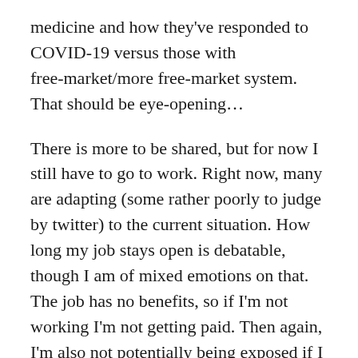medicine and how they've responded to COVID-19 versus those with free-market/more free-market system. That should be eye-opening...
There is more to be shared, but for now I still have to go to work. Right now, many are adapting (some rather poorly to judge by twitter) to the current situation. How long my job stays open is debatable, though I am of mixed emotions on that. The job has no benefits, so if I'm not working I'm not getting paid. Then again, I'm also not potentially being exposed if I stay home for a week or two. May have to make a decision about that here soon.